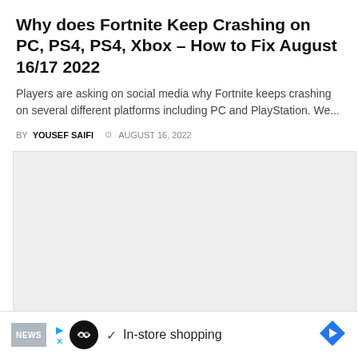Why does Fortnite Keep Crashing on PC, PS4, PS4, Xbox – How to Fix August 16/17 2022
Players are asking on social media why Fortnite keeps crashing on several different platforms including PC and PlayStation. We...
BY YOUSEF SAIFI  ⊙ AUGUST 16, 2022
[Figure (other): Large light grey image placeholder block]
NEWS  ▶ [logo] ✓ In-store shopping [arrow button]